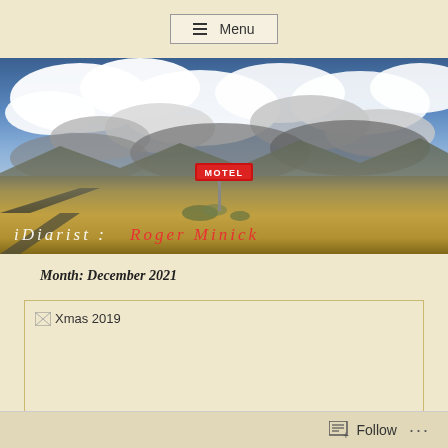Menu
[Figure (photo): Panoramic photo of a desert motel scene with dramatic cloudy sky, a red MOTEL sign, sandy ground, and mountains in the background. Text overlay reads 'iDiarist : Roger Minick']
Month: December 2021
[Figure (photo): Broken/unloaded image placeholder labeled 'Xmas 2019']
Follow ...